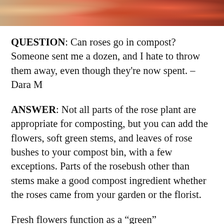[Figure (photo): Close-up photo of roses and flowers in orange, pink, and red tones]
QUESTION: Can roses go in compost? Someone sent me a dozen, and I hate to throw them away, even though they're now spent. – Dara M
ANSWER: Not all parts of the rose plant are appropriate for composting, but you can add the flowers, soft green stems, and leaves of rose bushes to your compost bin, with a few exceptions. Parts of the rosebush other than stems make a good compost ingredient whether the roses came from your garden or the florist.
Fresh flowers function as a "green"